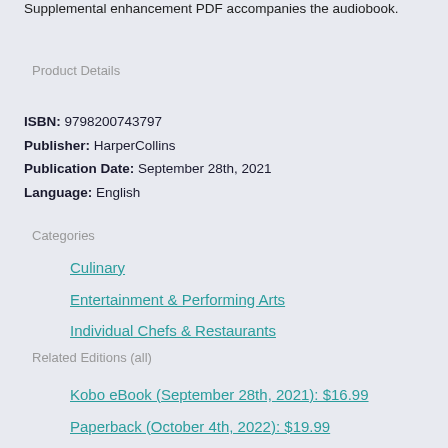Supplemental enhancement PDF accompanies the audiobook.
Product Details
ISBN: 9798200743797
Publisher: HarperCollins
Publication Date: September 28th, 2021
Language: English
Categories
Culinary
Entertainment & Performing Arts
Individual Chefs & Restaurants
Related Editions (all)
Kobo eBook (September 28th, 2021): $16.99
Paperback (October 4th, 2022): $19.99